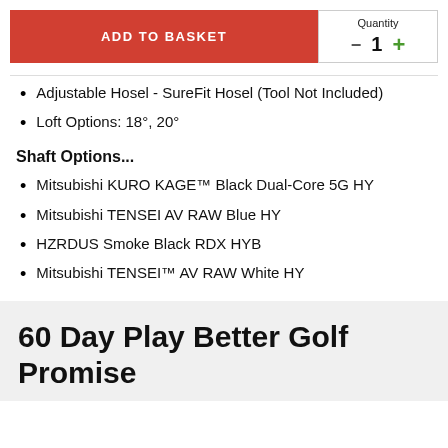[Figure (other): Add to Basket button (red) with Quantity control showing 1 with minus and plus buttons]
Adjustable Hosel - SureFit Hosel (Tool Not Included)
Loft Options: 18°, 20°
Shaft Options...
Mitsubishi KURO KAGE™ Black Dual-Core 5G HY
Mitsubishi TENSEI AV RAW Blue HY
HZRDUS Smoke Black RDX HYB
Mitsubishi TENSEI™ AV RAW White HY
60 Day Play Better Golf Promise